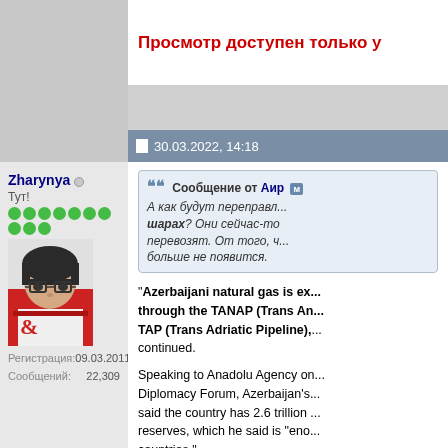Просмотр доступен только у...
30.03.2022, 14:18
Zharynya
Тут!
Регистрация: 09.03.2011
Сообщений: 22,309
Сообщение от Аир м
А как будут переправл... шарах? Они сейчас-то перевозят. От того, ч... больше не появится.
"Azerbaijani natural gas is ex... through the TANAP (Trans An... TAP (Trans Adriatic Pipeline),... continued.

Speaking to Anadolu Agency on... Diplomacy Forum, Azerbaijan's... said the country has 2.6 trillion ... reserves, which he said is "eno... countries."
https://www.aa.com.tr/en/turkey...